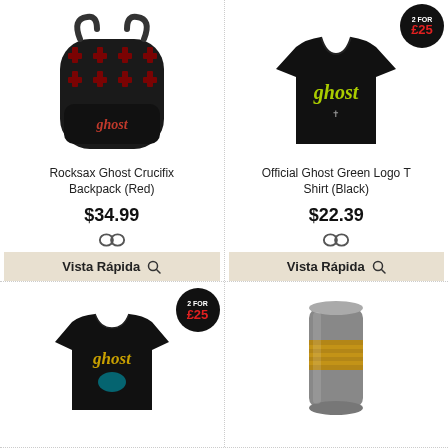[Figure (photo): Rocksax Ghost Crucifix Backpack (Red) - black backpack with red cross pattern and Ghost logo]
Rocksax Ghost Crucifix Backpack (Red)
$34.99
Vista Rápida
[Figure (photo): Official Ghost Green Logo T Shirt (Black) - black t-shirt with green Ghost logo]
Official Ghost Green Logo T Shirt (Black)
$22.39
Vista Rápida
[Figure (photo): Ghost t-shirt black with Ghost logo and teal design, with 2 FOR £25 badge]
[Figure (photo): Ghost merchandise mug/tumbler stainless steel with gold pattern]